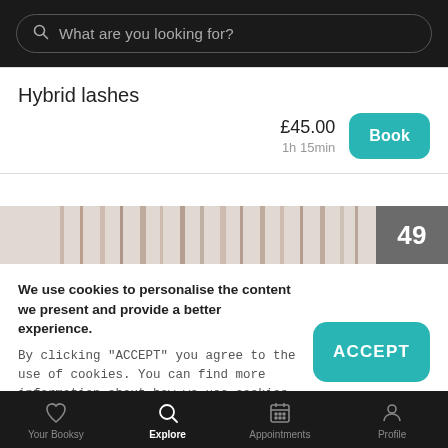[Figure (screenshot): Search bar with placeholder text 'What are you looking for?' on dark background]
Hybrid lashes
£45.00
1h 15min
[Figure (photo): Horizontal image strip of eyelashes/beauty treatment with a grey box showing number 49]
We use cookies to personalise the content we present and provide a better experience.
By clicking "ACCEPT" you agree to the use of cookies. You can find more information about how we use cookies here.
Your Booksy   Explore   Appointments   Profile